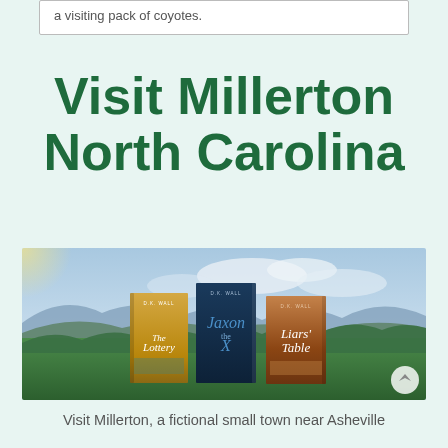a visiting pack of coyotes.
Visit Millerton North Carolina
[Figure (photo): Three book covers by D.K. Wall — 'The Lottery', 'Jaxon' (subtitle 'the X'), and 'Liars' Table' — displayed standing upright against a mountain landscape background with forests and cloudy sky.]
Visit Millerton, a fictional small town near Asheville